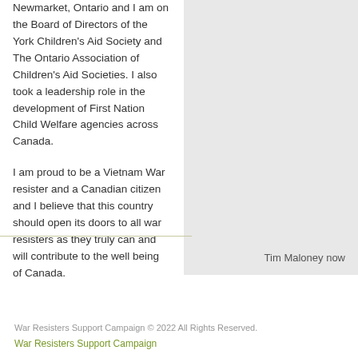Newmarket, Ontario and I am on the Board of Directors of the York Children's Aid Society and The Ontario Association of Children's Aid Societies. I also took a leadership role in the development of First Nation Child Welfare agencies across Canada.
I am proud to be a Vietnam War resister and a Canadian citizen and I believe that this country should open its doors to all war resisters as they truly can and will contribute to the well being of Canada.
Tim Maloney now
War Resisters Support Campaign © 2022 All Rights Reserved.
War Resisters Support Campaign